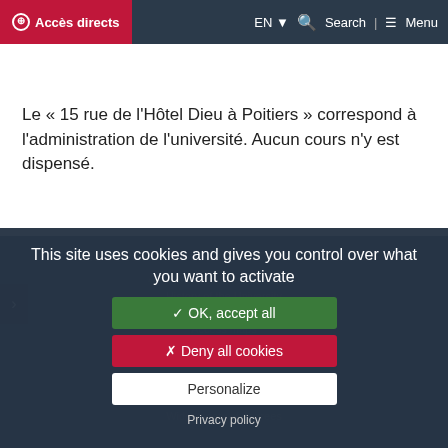⊕ Accès directs | EN ▾ Search | ≡ Menu
Le « 15 rue de l'Hôtel Dieu à Poitiers » correspond à l'administration de l'université. Aucun cours n'y est dispensé.
DISCOVER THE UNIVERSITY OF POITIERS
An university close to its region
History of the University
Heritage
Access maps
This site uses cookies and gives you control over what you want to activate
✓ OK, accept all
✗ Deny all cookies
Personalize
Privacy policy
OUR STRENGTHS
Wide variety of degrees